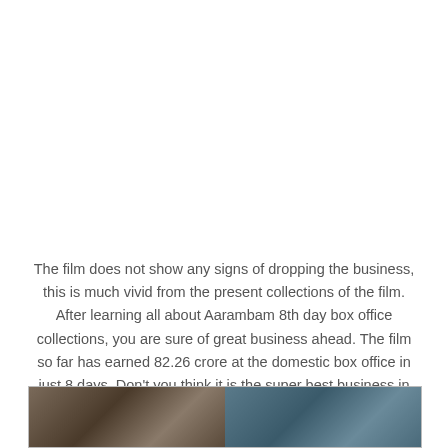The film does not show any signs of dropping the business, this is much vivid from the present collections of the film. After learning all about Aarambam 8th day box office collections, you are sure of great business ahead. The film so far has earned 82.26 crore at the domestic box office in just 8 days. Don't you think it is the super best business in just tiny time? Ofcourse it is!
[Figure (photo): Two photos side by side showing people, partially visible at the bottom of the page]